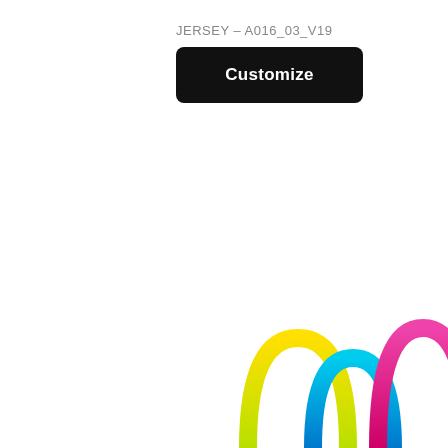JERSEY – A016_03_V19
Customize
[Figure (logo): Colorful arch/wave logo marks in yellow, cyan/blue, and magenta/pink at the bottom right corner of the page]